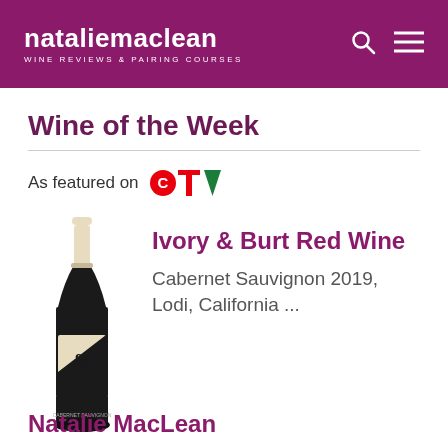nataliemaclean WINE REVIEWS & PAIRING COURSES
Wine of the Week
As featured on CTV
[Figure (photo): Bottle of Ivory & Burt Red Wine Cabernet Sauvignon 2019, Lodi, California]
Ivory & Burt Red Wine
Cabernet Sauvignon 2019, Lodi, California ...
Natalie MacLean